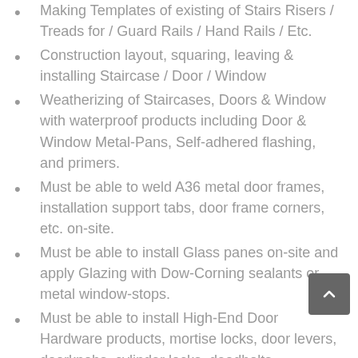Making Templates of existing of Stairs Risers / Treads for / Guard Rails / Hand Rails / Etc.
Construction layout, squaring, leaving & installing Staircase / Door / Window
Weatherizing of Staircases, Doors & Window with waterproof products including Door & Window Metal-Pans, Self-adhered flashing, and primers.
Must be able to weld A36 metal door frames, installation support tabs, door frame corners, etc. on-site.
Must be able to install Glass panes on-site and apply Glazing with Dow-Corning sealants or metal window-stops.
Must be able to install High-End Door Hardware products, mortise locks, door levers, doorknobs, cylinder locks, deadbolts, escutcheon